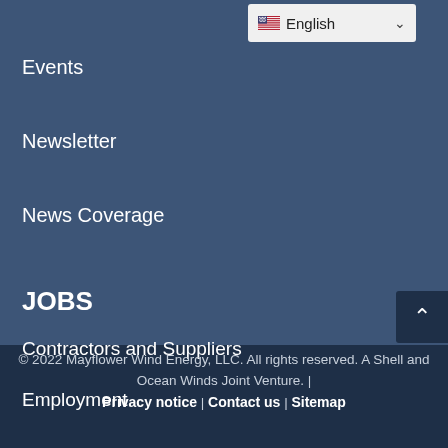[Figure (screenshot): Language selector dropdown showing US flag and 'English' label with chevron]
Events
Newsletter
News Coverage
JOBS
Contractors and Suppliers
Employment
© 2022 Mayflower Wind Energy, LLC. All rights reserved. A Shell and Ocean Winds Joint Venture. | Privacy notice | Contact us | Sitemap